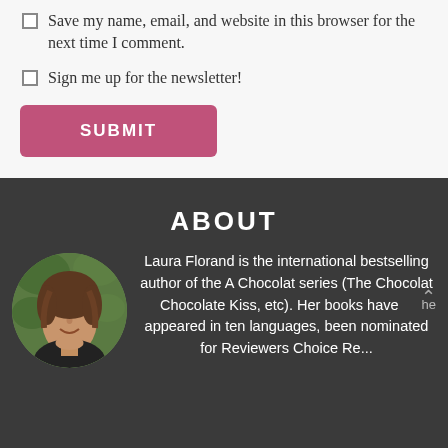Save my name, email, and website in this browser for the next time I comment.
Sign me up for the newsletter!
SUBMIT
ABOUT
[Figure (photo): Circular portrait photo of Laura Florand, a woman with curly brown hair, smiling, hands under chin, wearing a dark top, outdoors with green foliage background.]
Laura Florand is the international bestselling author of the A Chocolat series (The Chocolat The Chocolate Kiss, etc). Her books have appeared in ten languages, been nominated for Reviewers Choice Re...